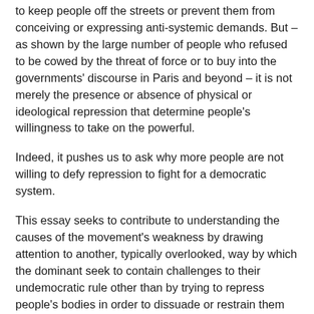to keep people off the streets or prevent them from conceiving or expressing anti-systemic demands. But – as shown by the large number of people who refused to be cowed by the threat of force or to buy into the governments' discourse in Paris and beyond – it is not merely the presence or absence of physical or ideological repression that determine people's willingness to take on the powerful.
Indeed, it pushes us to ask why more people are not willing to defy repression to fight for a democratic system.
This essay seeks to contribute to understanding the causes of the movement's weakness by drawing attention to another, typically overlooked, way by which the dominant seek to contain challenges to their undemocratic rule other than by trying to repress people's bodies in order to dissuade or restrain them from overthrowing the system: that of trying to mould people's very subjectivities – how they see their identities, how they make sense of their life situations, what they aspire to, whom they consider their 'friends' or their 'enemies' – in order to persuade people to actively defend the system.